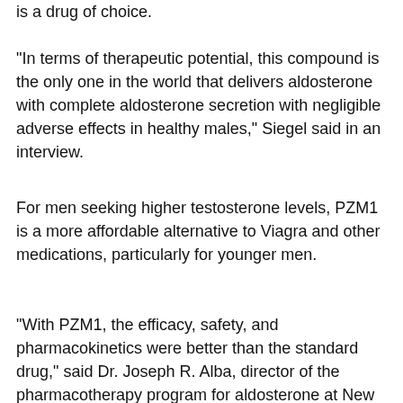is a drug of choice.
"In terms of therapeutic potential, this compound is the only one in the world that delivers aldosterone with complete aldosterone secretion with negligible adverse effects in healthy males," Siegel said in an interview.
For men seeking higher testosterone levels, PZM1 is a more affordable alternative to Viagra and other medications, particularly for younger men.
"With PZM1, the efficacy, safety, and pharmacokinetics were better than the standard drug," said Dr. Joseph R. Alba, director of the pharmacotherapy program for aldosterone at New England BioLabs, a division of the FDA-accredited Novartis Pharmaceuticals International.